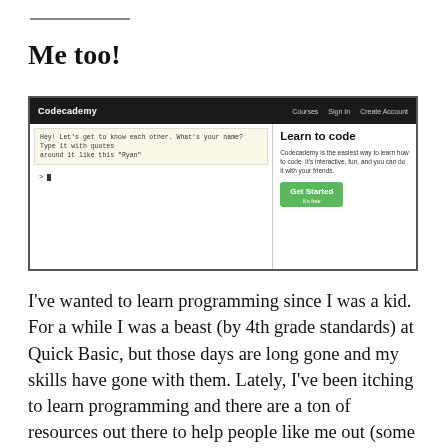Me too!
[Figure (screenshot): Screenshot of Codecademy website showing a code editor on the left with the prompt 'Hey! Let's get to know each other. What's your name? Type it with quotes around it like this "Ryan"' and a terminal prompt, and on the right a 'Learn to code' panel with text 'Codecademy is the easiest way to learn how to code. It's interactive, fun, and you can do it with your friends.' and a green 'Get Started' button. The navigation bar shows Codecademy logo with Courses, Sign In, Create Account links.]
I've wanted to learn programming since I was a kid. For a while I was a beast (by 4th grade standards) at Quick Basic, but those days are long gone and my skills have gone with them. Lately, I've been itching to learn programming and there are a ton of resources out there to help people like me out (some listed below), but